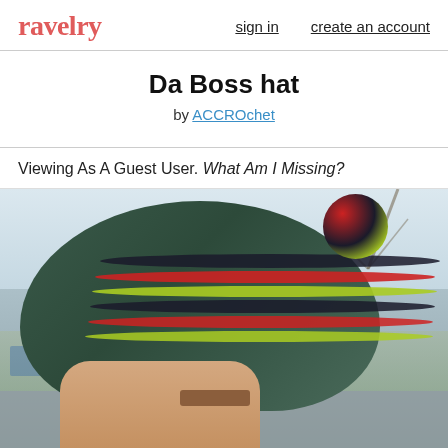ravelry  sign in  create an account
Da Boss hat
by ACCROchet
Viewing As A Guest User. What Am I Missing?
[Figure (photo): Close-up photo of a crocheted beanie hat in dark green/teal with colorful stripes (black, red, yellow-green) and a multicolor pompom on top. A wooden label is visible on the hat. The hat is being held by someone outdoors with a muted landscape background.]